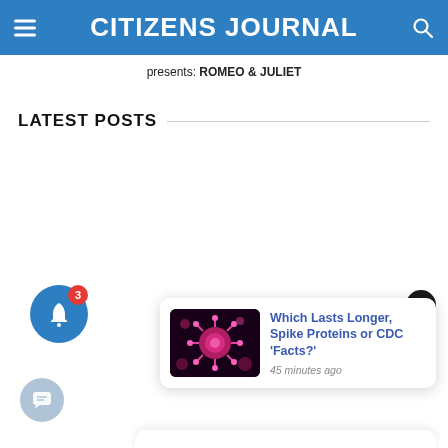CITIZENS JOURNAL
presents: ROMEO & JULIET
LATEST POSTS
[Figure (infographic): Blue notification bell icon with red badge showing number 3]
[Figure (infographic): Dark close button with X]
[Figure (infographic): Notification card showing article: Which Lasts Longer, Spike Proteins or CDC 'Facts?' — 45 minutes ago, with a virus/coronavirus thumbnail image]
[Figure (infographic): Chat bubble button in light blue circle]